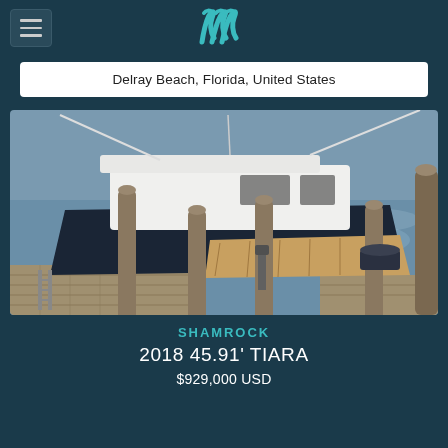[Figure (logo): Stylized double-wave logo mark in teal/cyan color on dark navy background, with hamburger menu button on left]
Delray Beach, Florida, United States
[Figure (photo): A white sport fishing yacht (Tiara) docked at a marina slip with wooden dock pilings, teak deck, outriggers, and calm blue water in background]
SHAMROCK
2018 45.91' TIARA
$929,000 USD